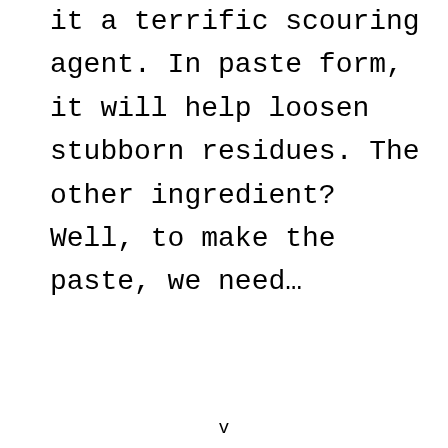it a terrific scouring agent. In paste form, it will help loosen stubborn residues. The other ingredient? Well, to make the paste, we need…
v